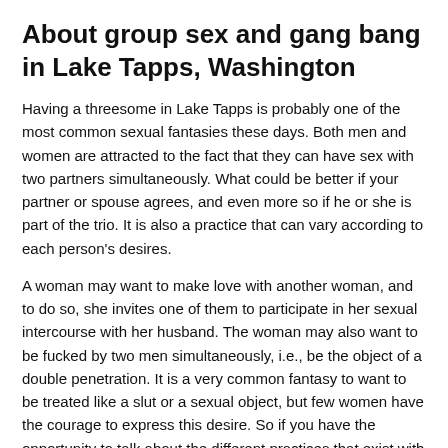About group sex and gang bang in Lake Tapps, Washington
Having a threesome in Lake Tapps is probably one of the most common sexual fantasies these days. Both men and women are attracted to the fact that they can have sex with two partners simultaneously. What could be better if your partner or spouse agrees, and even more so if he or she is part of the trio. It is also a practice that can vary according to each person's desires.
A woman may want to make love with another woman, and to do so, she invites one of them to participate in her sexual intercourse with her husband. The woman may also want to be fucked by two men simultaneously, i.e., be the object of a double penetration. It is a very common fantasy to want to be treated like a slut or a sexual object, but few women have the courage to express this desire. So if you have the opportunity to talk about the different practices that exist with your partner, think about submitting your desires to him or her and discovering his or her own. You will probably find an interesting compromise to satisfy each other. After all, being in a couple means being able to make